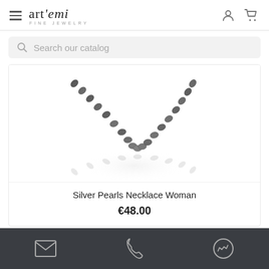art'emi FINE JEWELRY
Search our catalog
[Figure (photo): Silver pearl chain necklace for women displayed on white background with reflection]
Silver Pearls Necklace Woman
€48.00
Contact icons: email, phone, messenger